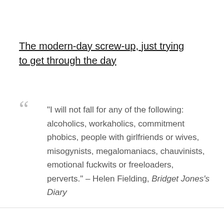The modern-day screw-up, just trying to get through the day
“I will not fall for any of the following: alcoholics, workaholics, commitment phobics, people with girlfriends or wives, misogynists, megalomaniacs, chauvinists, emotional fuckwits or freeloaders, perverts.” – Helen Fielding, Bridget Jones’s Diary